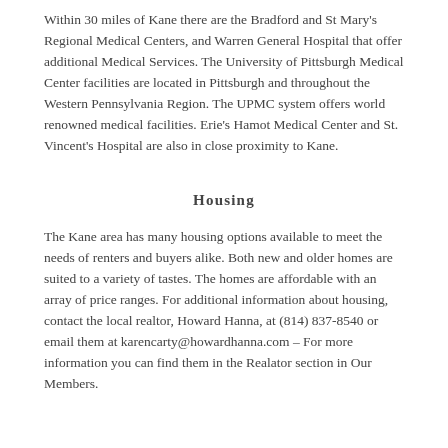Within 30 miles of Kane there are the Bradford and St Mary's Regional Medical Centers, and Warren General Hospital that offer additional Medical Services. The University of Pittsburgh Medical Center facilities are located in Pittsburgh and throughout the Western Pennsylvania Region. The UPMC system offers world renowned medical facilities. Erie's Hamot Medical Center and St. Vincent's Hospital are also in close proximity to Kane.
Housing
The Kane area has many housing options available to meet the needs of renters and buyers alike. Both new and older homes are suited to a variety of tastes. The homes are affordable with an array of price ranges. For additional information about housing, contact the local realtor, Howard Hanna, at (814) 837-8540 or email them at karencarty@howardhanna.com – For more information you can find them in the Realator section in Our Members.